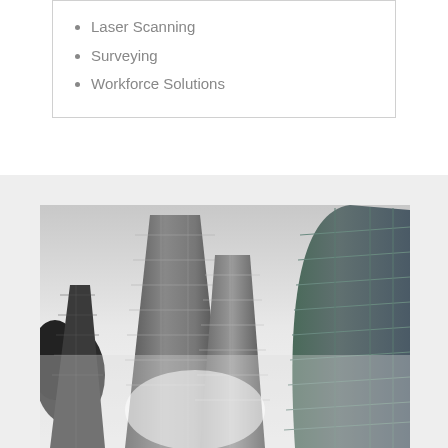Laser Scanning
Surveying
Workforce Solutions
[Figure (photo): Upward-looking perspective photograph of tall glass skyscrapers and buildings against a bright overcast sky, with trees visible on the left side. The photo is in black and white / desaturated tones with bright light source in the center bottom.]